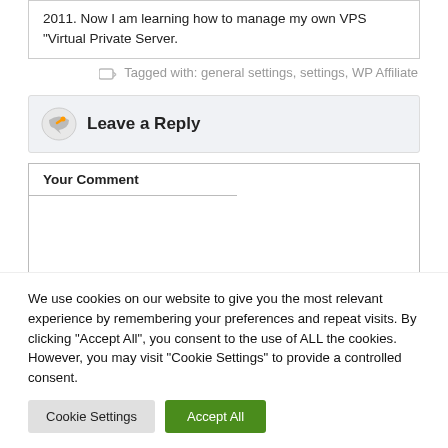2011. Now I am learning how to manage my own VPS "Virtual Private Server.
Tagged with: general settings, settings, WP Affiliate
Leave a Reply
Your Comment
We use cookies on our website to give you the most relevant experience by remembering your preferences and repeat visits. By clicking “Accept All”, you consent to the use of ALL the cookies. However, you may visit "Cookie Settings" to provide a controlled consent.